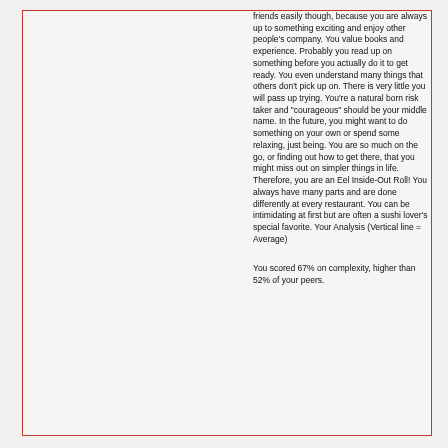friends easily though, because you are always up to something exciting and enjoy other people's company. You value books and experience. Probably you read up on something before you actually do it to get ready. You even understand many things that others don't pick up on. There is very little you will pass up trying. You're a natural born risk taker and "courageous" should be your middle name. In the future, you might want to do something on your own or spend some relaxing, just being. You are so much on the go, or finding out how to get there, that you might miss out on simpler things in life. Therefore, you are an Eel Inside-Out Roll! You always have many parts and are done differently at every restaurant. You can be intimidating at first but are often a sushi lover's special favorite. Your Analysis (Vertical line = Average)
You scored 67% on complexity, higher than 52% of your peers.